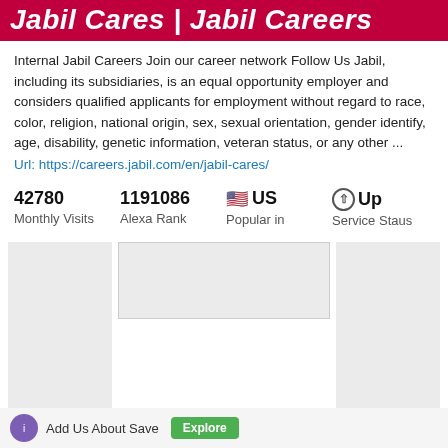Jabil Cares | Jabil Careers
Internal Jabil Careers Join our career network Follow Us Jabil, including its subsidiaries, is an equal opportunity employer and considers qualified applicants for employment without regard to race, color, religion, national origin, sex, sexual orientation, gender identify, age, disability, genetic information, veteran status, or any other ...
Url: https://careers.jabil.com/en/jabil-cares/
42780 Monthly Visits | 1191086 Alexa Rank | US Popular in | Up Service Staus
[Figure (screenshot): Empty grey panel sections representing ad or content placeholders]
Add button / Explore action at bottom